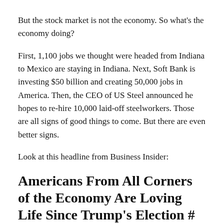But the stock market is not the economy. So what's the economy doing?
First, 1,100 jobs we thought were headed from Indiana to Mexico are staying in Indiana. Next, Soft Bank is investing $50 billion and creating 50,000 jobs in America. Then, the CEO of US Steel announced he hopes to re-hire 10,000 laid-off steelworkers. Those are all signs of good things to come. But there are even better signs.
Look at this headline from Business Insider:
Americans From All Corners of the Economy Are Loving Life Since Trump's Election #
Check out these leading indicators (link):